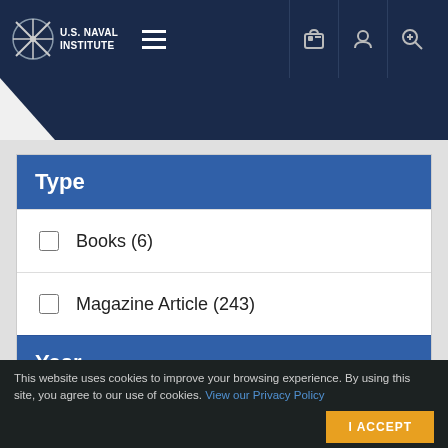U.S. Naval Institute
Type
Books (6)
Magazine Article (243)
Year
- All Time -
This website uses cookies to improve your browsing experience. By using this site, you agree to our use of cookies. View our Privacy Policy
I ACCEPT